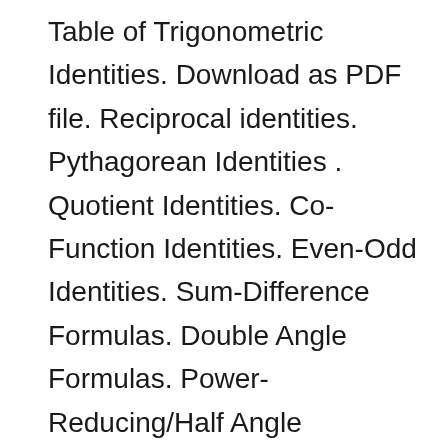Table of Trigonometric Identities. Download as PDF file. Reciprocal identities. Pythagorean Identities . Quotient Identities. Co-Function Identities. Even-Odd Identities. Sum-Difference Formulas. Double Angle Formulas. Power-Reducing/Half Angle Formulas. Sum-to-Product Formulas. Product-to-Sum Formulas. Download as PDF file [Trigonometry] [Differential Equations] [Complex Variables] [Matrix Trigonometry (trig) identities. All these trig identities can be derived from first principles. But there are a lot of them and some are hard to remember. Print this page as a handy quick reference guide. Recall that these identities work both ways. That is, if you have an expression that matches the left or right side of